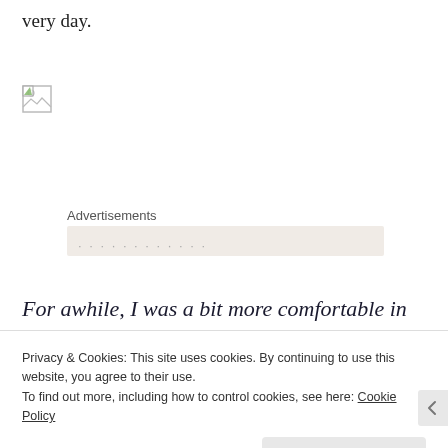very day.
[Figure (other): Broken image placeholder icon]
Advertisements
For awhile, I was a bit more comfortable in my own skin in my twenties. I was dating, going to
Privacy & Cookies: This site uses cookies. By continuing to use this website, you agree to their use.
To find out more, including how to control cookies, see here: Cookie Policy
Close and accept